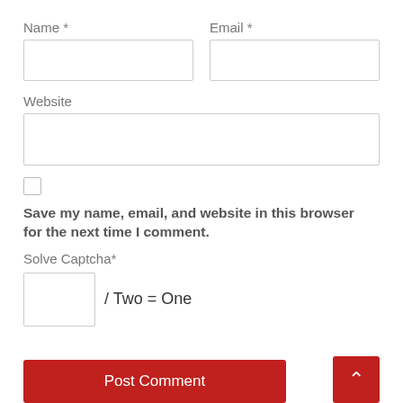Name *
Email *
Website
Save my name, email, and website in this browser for the next time I comment.
Solve Captcha*
/ Two = One
Post Comment